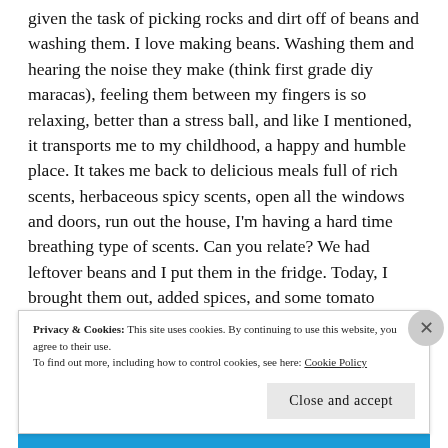given the task of picking rocks and dirt off of beans and washing them. I love making beans. Washing them and hearing the noise they make (think first grade diy maracas), feeling them between my fingers is so relaxing, better than a stress ball, and like I mentioned, it transports me to my childhood, a happy and humble place. It takes me back to delicious meals full of rich scents, herbaceous spicy scents, open all the windows and doors, run out the house, I'm having a hard time breathing type of scents. Can you relate? We had leftover beans and I put them in the fridge. Today, I brought them out, added spices, and some tomato sauce, and made chili. I also made short grained rice because chili rice is one of my
Privacy & Cookies: This site uses cookies. By continuing to use this website, you agree to their use. To find out more, including how to control cookies, see here: Cookie Policy
Close and accept